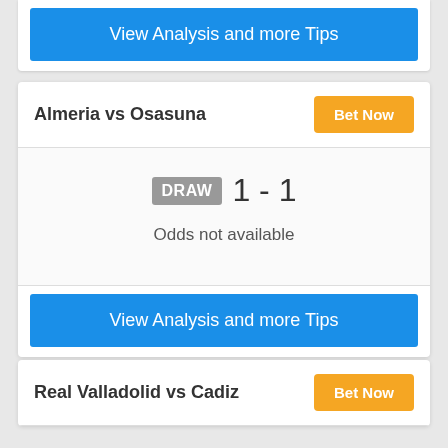View Analysis and more Tips
Almeria vs Osasuna
Bet Now
DRAW 1 - 1
Odds not available
View Analysis and more Tips
Real Valladolid vs Cadiz
Bet Now